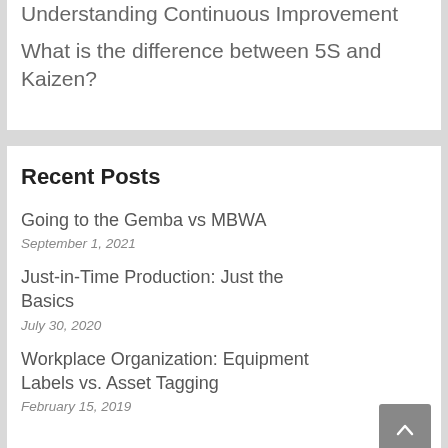Understanding Continuous Improvement
What is the difference between 5S and Kaizen?
Recent Posts
Going to the Gemba vs MBWA
September 1, 2021
Just-in-Time Production: Just the Basics
July 30, 2020
Workplace Organization: Equipment Labels vs. Asset Tagging
February 15, 2019